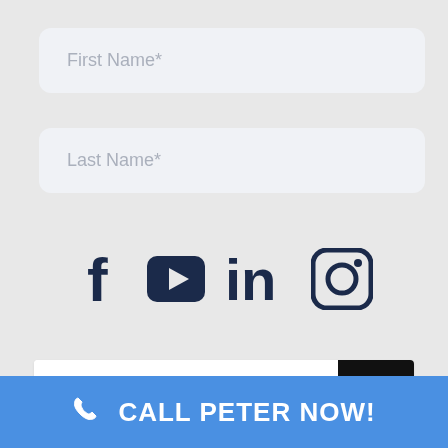First Name*
Last Name*
[Figure (infographic): Social media icons: Facebook (f), YouTube (play button in rounded rectangle), LinkedIn (in), Instagram (camera in rounded square) — all in dark navy color]
Search...
CALL PETER NOW!